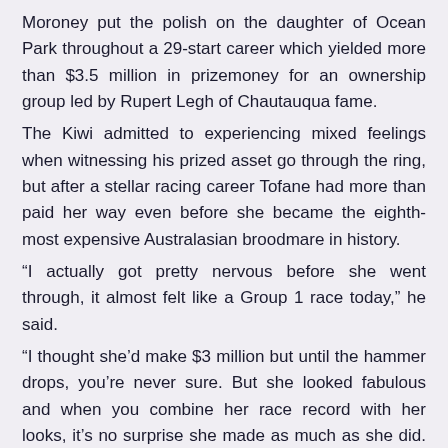Moroney put the polish on the daughter of Ocean Park throughout a 29-start career which yielded more than $3.5 million in prizemoney for an ownership group led by Rupert Legh of Chautauqua fame.
The Kiwi admitted to experiencing mixed feelings when witnessing his prized asset go through the ring, but after a stellar racing career Tofane had more than paid her way even before she became the eighth-most expensive Australasian broodmare in history.
“I actually got pretty nervous before she went through, it almost felt like a Group 1 race today,” he said.
“I thought she’d make $3 million but until the hammer drops, you’re never sure. But she looked fabulous and when you combine her race record with her looks, it’s no surprise she made as much as she did. If she was a human she’d be a model, she’s just got everything you look for in a mare and she’s very feminine.
“We thought she’d make around $2.5 million if we sold